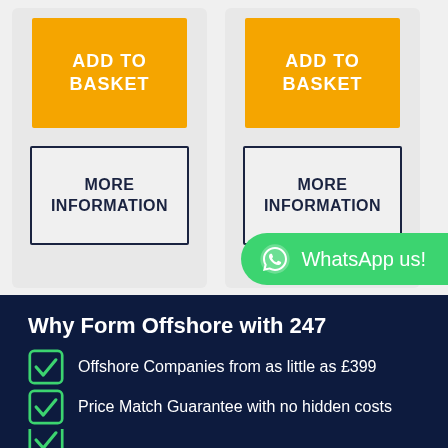[Figure (screenshot): Two product cards each with orange ADD TO BASKET button and MORE INFORMATION outlined button]
WhatsApp us!
Why Form Offshore with 247
Offshore Companies from as little as £399
Price Match Guarantee with no hidden costs
(partial - cut off at bottom)